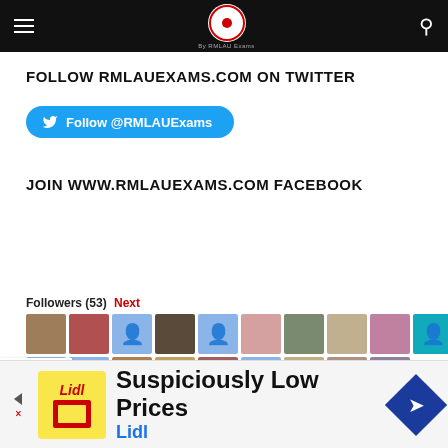Navigation bar with hamburger menu, RMLAU logo, and search icon
FOLLOW RMLAUEXAMS.COM ON TWITTER
[Figure (other): Twitter follow button: Follow @RMLAUExams]
JOIN WWW.RMLAUEXAMS.COM FACEBOOK
Followers (53) Next
[Figure (photo): Grid of 19 Facebook follower profile photos and avatars in two rows]
[Figure (infographic): Advertisement banner: Suspiciously Low Prices - Lidl]